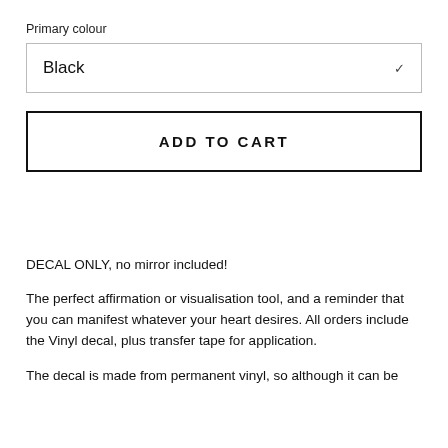Primary colour
Black
ADD TO CART
DECAL ONLY, no mirror included!
The perfect affirmation or visualisation tool, and a reminder that you can manifest whatever your heart desires. All orders include the Vinyl decal, plus transfer tape for application.
The decal is made from permanent vinyl, so although it can be